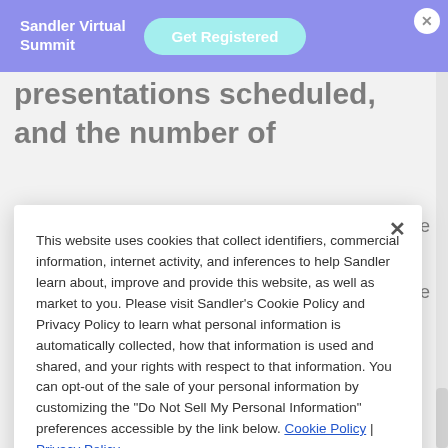Sandler Virtual Summit  Get Registered
presentations scheduled, and the number of
This website uses cookies that collect identifiers, commercial information, internet activity, and inferences to help Sandler learn about, improve and provide this website, as well as market to you. Please visit Sandler's Cookie Policy and Privacy Policy to learn what personal information is automatically collected, how that information is used and shared, and your rights with respect to that information. You can opt-out of the sale of your personal information by customizing the "Do Not Sell My Personal Information" preferences accessible by the link below. Cookie Policy | Privacy Policy
Acknowledge